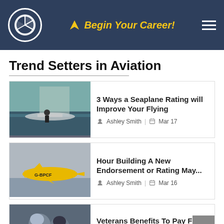Begin Your Career!
Trend Setters in Aviation
[Figure (photo): Person working on a seaplane at a dock with water in background]
3 Ways a Seaplane Rating will Improve Your Flying
Ashley Smith | Mar 17
[Figure (photo): Yellow light aircraft with registration G-BPCF in flight]
Hour Building A New Endorsement or Rating May...
Ashley Smith | Mar 16
[Figure (photo): People in aviation gear looking at something]
Veterans Benefits To Pay For